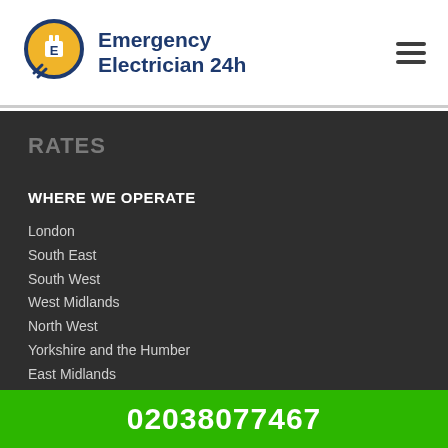[Figure (logo): Emergency Electrician 24h logo with electrical plug icon in gold circle and dark blue text]
RATES
WHERE WE OPERATE
London
South East
South West
West Midlands
North West
Yorkshire and the Humber
East Midlands
02038077467